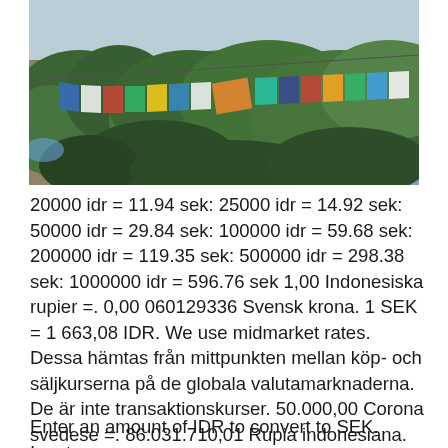[Figure (photo): Outdoor photo of colorful prayer flags strung across a forested hillside landscape with trees and sky in the background.]
20000 idr = 11.94 sek: 25000 idr = 14.92 sek: 50000 idr = 29.84 sek: 100000 idr = 59.68 sek: 200000 idr = 119.35 sek: 500000 idr = 298.38 sek: 1000000 idr = 596.76 sek 1,00 Indonesiska rupier =. 0,00 060129336 Svensk krona. 1 SEK = 1 663,08 IDR. We use midmarket rates. Dessa hämtas från mittpunkten mellan köp- och säljkurserna på de globala valutamarknaderna. De är inte transaktionskurser. 50.000,00 Corona svedese =. 86.031.710,01 Rupia indonesiana.
Enter an amount of IDR to convert to SEK. Input.